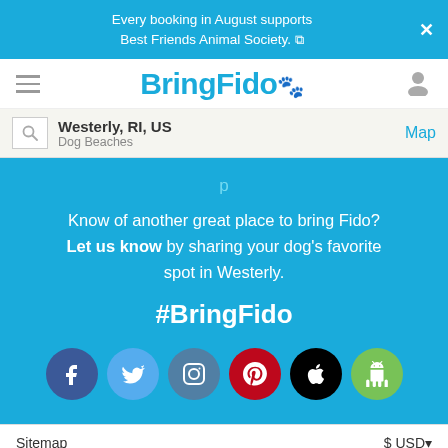Every booking in August supports Best Friends Animal Society.
[Figure (logo): BringFido navigation bar with hamburger menu, BringFido logo, and user icon]
Westerly, RI, US — Dog Beaches — Map
Know of another great place to bring Fido? Let us know by sharing your dog's favorite spot in Westerly.
#BringFido
[Figure (infographic): Six social media/app icons in circles: Facebook (blue), Twitter (light blue), Instagram (blue-grey), Pinterest (red), Apple App Store (black), Android (green)]
Sitemap   $ USD▼
Terms & Conditions